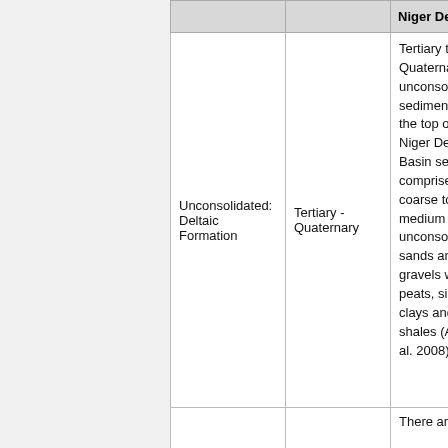|  |  | Niger Delta Basin - Sedime... |
| --- | --- | --- |
| Unconsolidated: Deltaic Formation | Tertiary - Quaternary | Tertiary to Quaternary unconsolidated sediments at the top of the Niger Delta Basin sequence comprise coarse to medium grained unconsolidated sands and gravels with peats, silts, clays and shales (Ade et al. 2008). |
|  |  | There are th... |